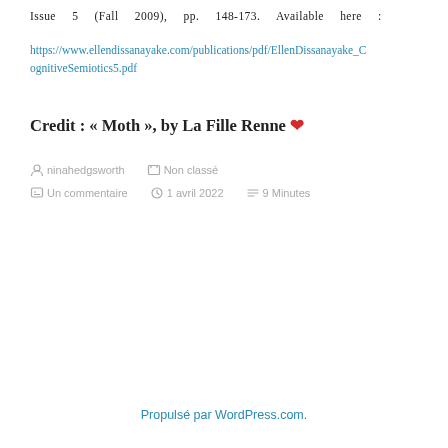Issue 5 (Fall 2009), pp. 148-173. Available here :
https://www.ellendissanayake.com/publications/pdf/EllenDissanayake_CognitiveSemiotics5.pdf
Credit : « Moth », by La Fille Renne ❤
ninahedgsworth   Non classé   Un commentaire   1 avril 2022   9 Minutes
Propulsé par WordPress.com.